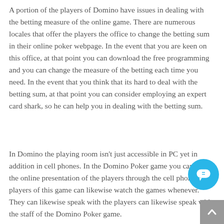A portion of the players of Domino have issues in dealing with the betting measure of the online game. There are numerous locales that offer the players the office to change the betting sum in their online poker webpage. In the event that you are keen on this office, at that point you can download the free programming and you can change the measure of the betting each time you need. In the event that you think that its hard to deal with the betting sum, at that point you can consider employing an expert card shark, so he can help you in dealing with the betting sum.
In Domino the playing room isn't just accessible in PC yet in addition in cell phones. In the Domino Poker game you can check the online presentation of the players through the cell phones. The players of this game can likewise watch the games whenever. They can likewise speak with the players can likewise speak with the staff of the Domino Poker game.
[Figure (other): Blue circular chat bubble button with speech bubble icon (=) overlay, and a grey scroll-to-top arrow button in the bottom-right corner.]